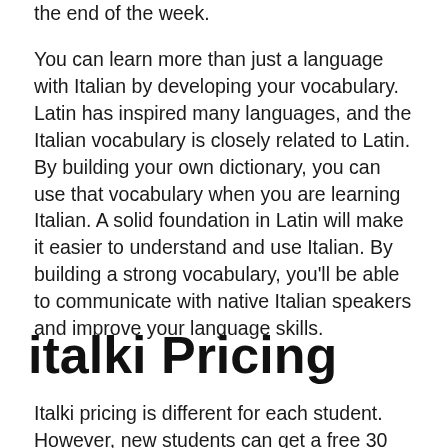the end of the week.
You can learn more than just a language with Italian by developing your vocabulary. Latin has inspired many languages, and the Italian vocabulary is closely related to Latin. By building your own dictionary, you can use that vocabulary when you are learning Italian. A solid foundation in Latin will make it easier to understand and use Italian. By building a strong vocabulary, you'll be able to communicate with native Italian speakers and improve your language skills.
italki Pricing
Italki pricing is different for each student. However, new students can get a free 30